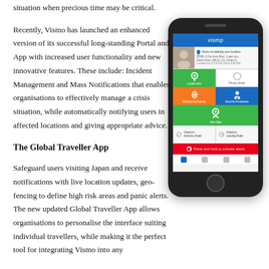situation when precious time may be critical.
Recently, Vismo has launched an enhanced version of its successful long-standing Portal and App with increased user functionality and new innovative features. These include: Incident Management and Mass Notifications that enables organisations to effectively manage a crisis situation, while automatically notifying users in affected locations and giving appropriate advice.
[Figure (screenshot): Smartphone displaying the Vismo app interface showing profile/location info, a grid of feature tiles (Locate User, Privacy Mode, Medical Assistance, Security Assistance, View Map, Check-in buttons), and a red alarm bar.]
The Global Traveller App
Safeguard users visiting Japan and receive notifications with live location updates, geo-fencing to define high risk areas and panic alerts. The new updated Global Traveller App allows organisations to personalise the interface suiting individual travellers, while making it the perfect tool for integrating Vismo into any